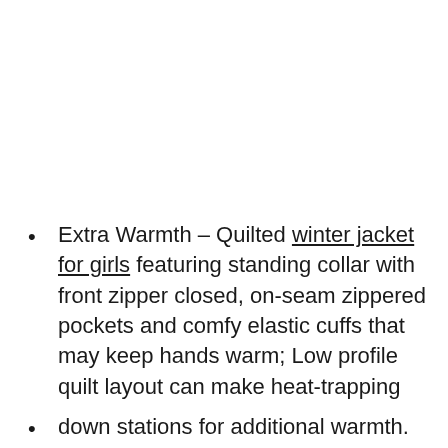Extra Warmth – Quilted winter jacket for girls featuring standing collar with front zipper closed, on-seam zippered pockets and comfy elastic cuffs that may keep hands warm; Low profile quilt layout can make heat-trapping
down stations for additional warmth. Premium cloth & down – Windproof cloth with high-quality workmanship